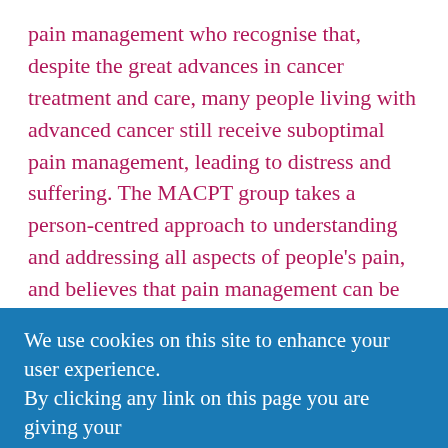pain management who recognise that, despite the great advances in cancer treatment and care, many people living with advanced cancer still receive suboptimal pain management, leading to distress and suffering. The MACPT group takes a person-centred approach to understanding and addressing all aspects of people's pain, and believes that pain management can be improved. Building on international guidance and expert opinion, the group, working with patients with advanced cancer, has developed clinical based and easy to use MACPT guidance to support those working in the field. The
We use cookies on this site to enhance your user experience.
By clicking any link on this page you are giving your